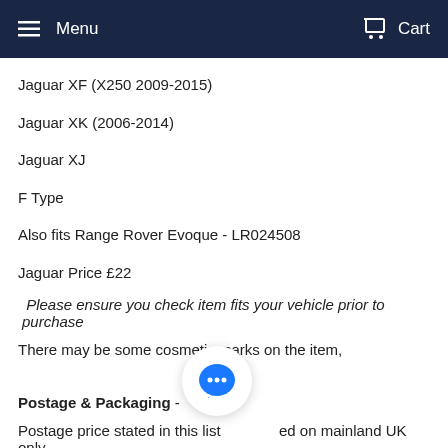Menu  Cart
Jaguar XF (X250 2009-2015)
Jaguar XK (2006-2014)
Jaguar XJ
F Type
Also fits Range Rover Evoque - LR024508
Jaguar Price £22
Please ensure you check item fits your vehicle prior to purchase
There may be some cosmetic marks on the item,
Postage & Packaging -
Postage price stated in this list based on mainland UK only
An extra charge will apply for all other areas - Please contact us prior to bidding to obtain a quote.